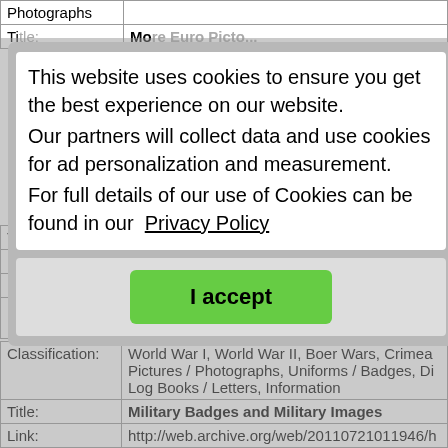| Label | Value |
| --- | --- |
| Photographs |  |
| Title: | Memorials around Cheshire |
| Link: | http://www.carlscam.com |
| Description: | Memorials around Cheshire |
| Extra Info: | Great photographs and transcriptions of many of Cheshire's war memorials. |
| Classification: | World War I, World War II, Boer Wars, Crimea Pictures / Photographs, Uniforms / Badges, Di Log Books / Letters, Information |
| Title: | Military Badges and Military Images |
| Link: | http://web.archive.org/web/20110721011946/h |
This website uses cookies to ensure you get the best experience on our website.
Our partners will collect data and use cookies for ad personalization and measurement.
For full details of our use of Cookies can be found in our Privacy Policy
I accept